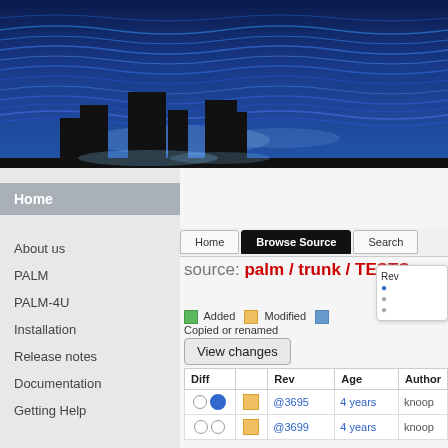[Figure (photo): Blue stylized cityscape header banner with dark building silhouettes against a blue water/wave textured background]
Home
About us
PALM
PALM-4U
Installation
Release notes
Documentation
Getting Help
source: palm / trunk / TESTS
Added   Modified   Copied or renamed
View changes
| Diff |  | Rev | Age | Author |
| --- | --- | --- | --- | --- |
| ○ ● | ■ | @3695 | 4 years | knoop |
| ○ ○ | ■ | @3699 | 4 years | knoop |